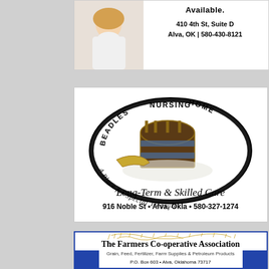[Figure (illustration): Top advertisement with a woman photo on left side and text on right: 'Available. 410 4th St, Suite D Alva, OK | 580-430-8121']
[Figure (logo): Beadles Nursing Home advertisement with circular logo showing a treasure chest, trumpet, and lace. Text: 'Beadles Nursing Home - A Place for Special Treasures'. Below: 'Long-Term & Skilled Care 916 Noble St • Alva, Okla • 580-327-1274']
[Figure (illustration): The Farmers Co-operative Association ad with wheat illustration. Text: 'Grain, Feed, Fertilizer, Farm Supplies & Petroleum Products. PO Box 603 • Alva, Oklahoma 73717']